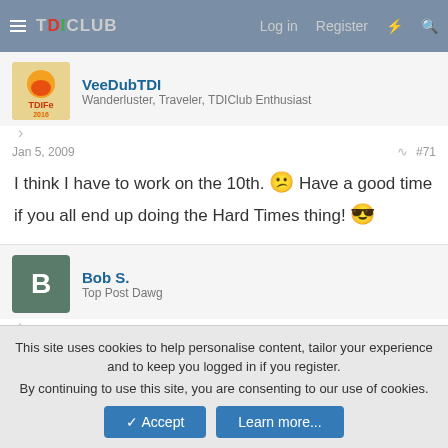TDIClub — Log in | Register
VeeDubTDI
Wanderluster, Traveler, TDIClub Enthusiast
Jan 5, 2009  #71
I think I have to work on the 10th. 😕 Have a good time if you all end up doing the Hard Times thing! 😎
Bob S.
Top Post Dawg
Jan 5, 2009  #72
This site uses cookies to help personalise content, tailor your experience and to keep you logged in if you register.
By continuing to use this site, you are consenting to our use of cookies.